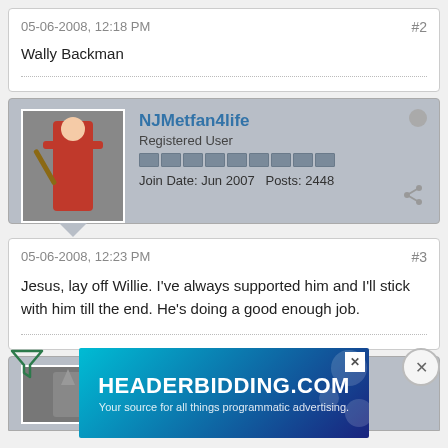05-06-2008, 12:18 PM
#2
Wally Backman
NJMetfan4life
Registered User
Join Date: Jun 2007    Posts: 2448
05-06-2008, 12:23 PM
#3
Jesus, lay off Willie. I've always supported him and I'll stick with him till the end. He's doing a good enough job.
GordonGecko
On the Inside.
[Figure (screenshot): Advertisement banner for HEADERBIDDING.COM - Your source for all things programmatic advertising.]